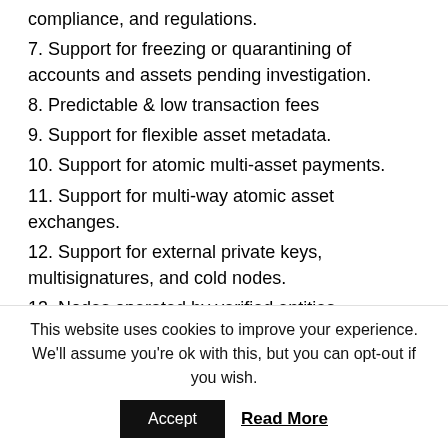compliance, and regulations.
7. Support for freezing or quarantining of accounts and assets pending investigation.
8. Predictable & low transaction fees
9. Support for flexible asset metadata.
10. Support for atomic multi-asset payments.
11. Support for multi-way atomic asset exchanges.
12. Support for external private keys, multisignatures, and cold nodes.
13. Nodes operated by verified entities
14. Unified JSON-RPC API for integration with applications.
This website uses cookies to improve your experience. We'll assume you're ok with this, but you can opt-out if you wish.